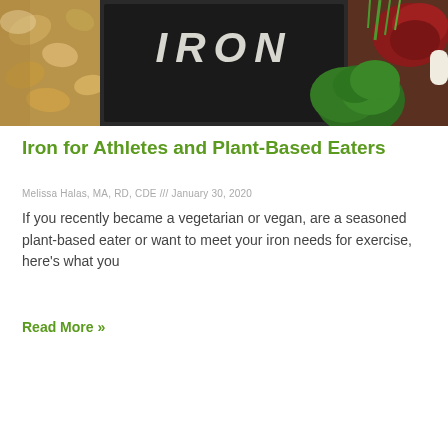[Figure (photo): Photo of iron-rich foods arranged around a chalkboard sign reading 'IRON' — includes nuts, broccoli, meat/liver, and other foods on a dark background.]
Iron for Athletes and Plant-Based Eaters
Melissa Halas, MA, RD, CDE /// January 30, 2020
If you recently became a vegetarian or vegan, are a seasoned plant-based eater or want to meet your iron needs for exercise, here's what you
Read More »